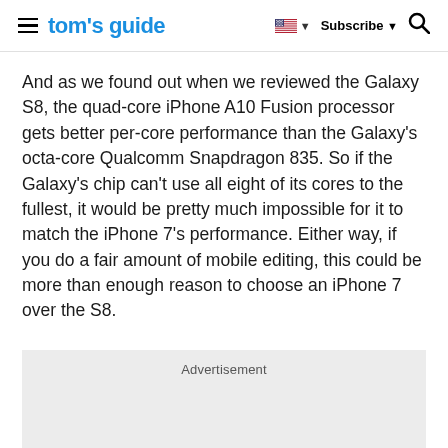tom's guide | Subscribe
And as we found out when we reviewed the Galaxy S8, the quad-core iPhone A10 Fusion processor gets better per-core performance than the Galaxy's octa-core Qualcomm Snapdragon 835. So if the Galaxy's chip can't use all eight of its cores to the fullest, it would be pretty much impossible for it to match the iPhone 7's performance. Either way, if you do a fair amount of mobile editing, this could be more than enough reason to choose an iPhone 7 over the S8.
[Figure (other): Advertisement placeholder box with grey background]